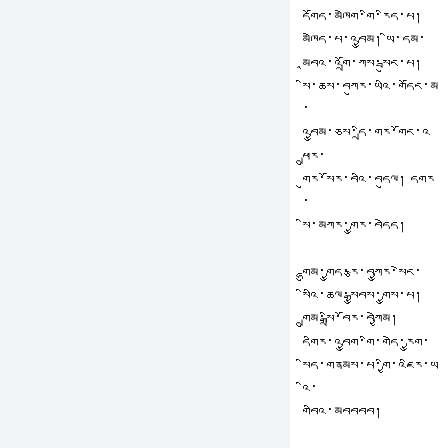དགོད་མཁེག་གི་རིན་པ། མཁེད་པ་འབྱུམ། ཡི་དམ་ མཱབའ་འགྲོ་ཀས་སྦུང་པ། སི་ཆས་བཀུར་ཡའི་གདོང་མ་ འབྱུམ་ཅས་དྲི་གར་གོང་འཕྲུར་ གུར་སོར་བའི་བདུལ། དགར་ སི་མཀར་གྱུར་བདེད། གྷུམ་གྱུད་རྩ་བཀྱུར་སེང་ སིའི་ཆལ་སྒྱུབས་གྱུས་པ། གྲུམ་སྒྲི་བོར་བཀྱེམ། དགིར་འབྱུག་གི་གདེ་རྱུག སིད་གནམས་པ་གྱི་འཇིར་ཡའི